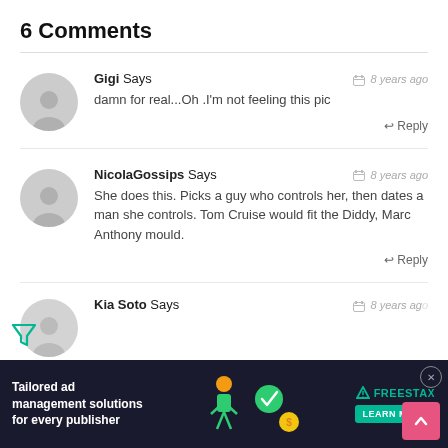6 Comments
Gigi Says
8 years ago
damn for real...Oh .I'm not feeling this pic
NicolaGossips Says
8 years ago
She does this. Picks a guy who controls her, then dates a man she controls. Tom Cruise would fit the Diddy, Marc Anthony mould.
Kia Soto Says
8 years ago
[Figure (infographic): Advertisement banner: Tailored ad management solutions for every publisher. Freestax brand with Learn More button. Dark background with illustrated figures.]